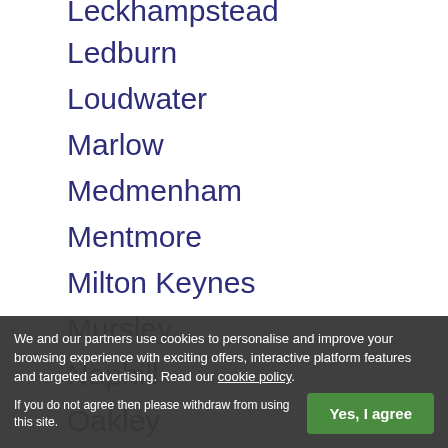Leckhampstead
Ledburn
Loudwater
Marlow
Medmenham
Mentmore
Milton Keynes
Mursley
Naphill
Oakley
Oving
Owlswick
Padbury
Penn
Pitchcott
Pitstone
We and our partners use cookies to personalise and improve your browsing experience with exciting offers, interactive platform features and targeted advertising. Read our cookie policy. If you do not agree then please withdraw from using this site.